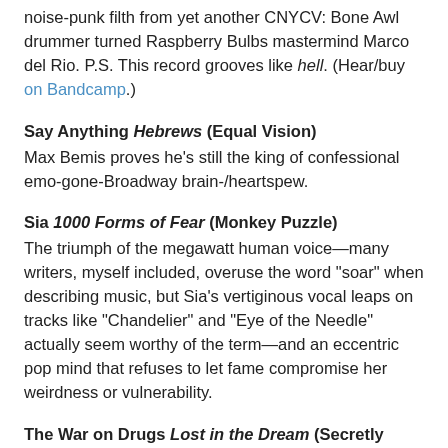noise-punk filth from yet another CNYCV: Bone Awl drummer turned Raspberry Bulbs mastermind Marco del Rio. P.S. This record grooves like hell. (Hear/buy on Bandcamp.)
Say Anything Hebrews (Equal Vision)
Max Bemis proves he's still the king of confessional emo-gone-Broadway brain-/heartspew.
Sia 1000 Forms of Fear (Monkey Puzzle)
The triumph of the megawatt human voice—many writers, myself included, overuse the word "soar" when describing music, but Sia's vertiginous vocal leaps on tracks like "Chandelier" and "Eye of the Needle" actually seem worthy of the term—and an eccentric pop mind that refuses to let fame compromise her weirdness or vulnerability.
The War on Drugs Lost in the Dream (Secretly Canadian)
Pastel roots-pop bliss, with all the gloss and pathos of the best '80s dad rock. "Red Eyes" in particular is an instant classic.
Yusuf Tell 'Em I'm Gone (Columbia/Legacy)